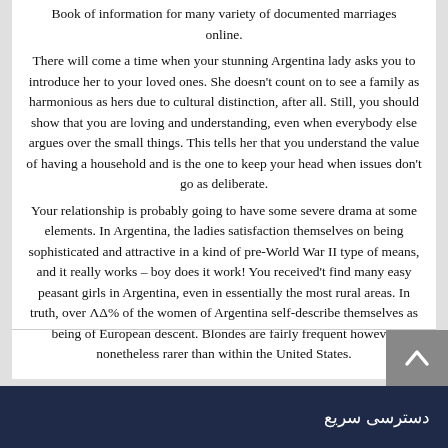Book of information for many variety of documented marriages online.

There will come a time when your stunning Argentina lady asks you to introduce her to your loved ones. She doesn't count on to see a family as harmonious as hers due to cultural distinction, after all. Still, you should show that you are loving and understanding, even when everybody else argues over the small things. This tells her that you understand the value of having a household and is the one to keep your head when issues don't go as deliberate.

Your relationship is probably going to have some severe drama at some elements. In Argentina, the ladies satisfaction themselves on being sophisticated and attractive in a kind of pre-World War II type of means, and it really works – boy does it work! You received't find many easy peasant girls in Argentina, even in essentially the most rural areas. In truth, over ΛΔ% of the women of Argentina self-describe themselves as being of European descent. Blondes are fairly frequent however nonetheless rarer than within the United States.
دسترسی سریع